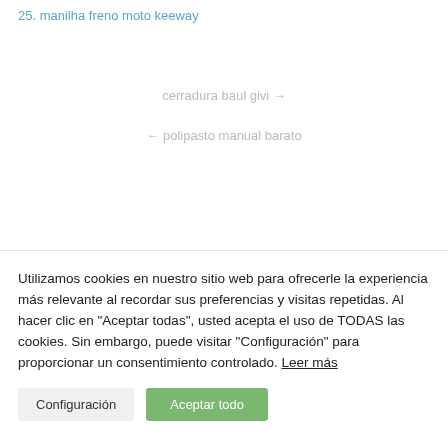25. manilha freno moto keeway
cerradura baul givi →
← polipasto manual barato
Utilizamos cookies en nuestro sitio web para ofrecerle la experiencia más relevante al recordar sus preferencias y visitas repetidas. Al hacer clic en "Aceptar todas", usted acepta el uso de TODAS las cookies. Sin embargo, puede visitar "Configuración" para proporcionar un consentimiento controlado. Leer más
Configuración
Aceptar todo